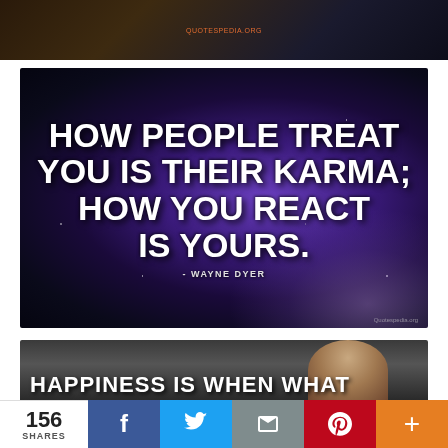[Figure (photo): Dark blurred background image with watermark 'QUOTESPEDIA.ORG' at bottom center]
[Figure (photo): Quote image with galaxy/night sky background. Text: 'HOW PEOPLE TREAT YOU IS THEIR KARMA; HOW YOU REACT IS YOURS.' attributed to - WAYNE DYER]
[Figure (photo): Partial image showing close-up of a person's face with large bold text: 'HAPPINESS IS WHEN WHAT']
156 SHARES
f
Twitter share
Email share
Pinterest share
+